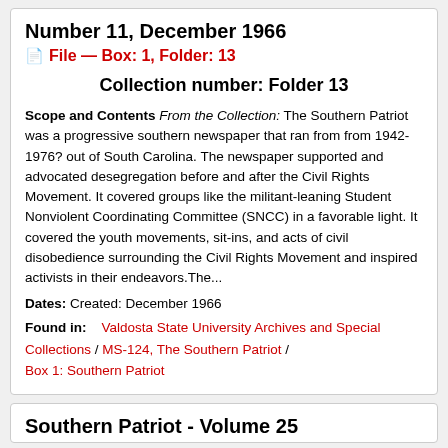Number 11, December 1966
File — Box: 1, Folder: 13
Collection number: Folder 13
Scope and Contents From the Collection: The Southern Patriot was a progressive southern newspaper that ran from from 1942-1976? out of South Carolina. The newspaper supported and advocated desegregation before and after the Civil Rights Movement. It covered groups like the militant-leaning Student Nonviolent Coordinating Committee (SNCC) in a favorable light. It covered the youth movements, sit-ins, and acts of civil disobedience surrounding the Civil Rights Movement and inspired activists in their endeavors.The...
Dates: Created: December 1966
Found in: Valdosta State University Archives and Special Collections / MS-124, The Southern Patriot / Box 1: Southern Patriot
Southern Patriot - Volume 25